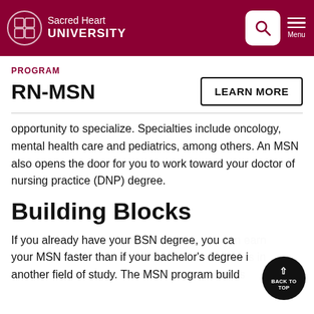Sacred Heart UNIVERSITY
PROGRAM
RN-MSN
LEARN MORE
opportunity to specialize. Specialties include oncology, mental health care and pediatrics, among others. An MSN also opens the door for you to work toward your doctor of nursing practice (DNP) degree.
Building Blocks
If you already have your BSN degree, you can earn your MSN faster than if your bachelor's degree is in another field of study. The MSN program builds